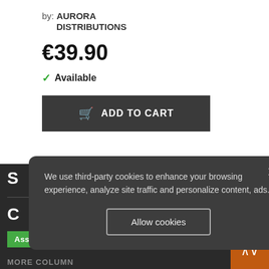by: AURORA DISTRIBUTIONS
€39.90
✓ Available
ADD TO CART
BACK TO TOP ∧
We use third-party cookies to enhance your browsing experience, analyze site traffic and personalize content, ads.
Allow cookies
Assistant at Sales